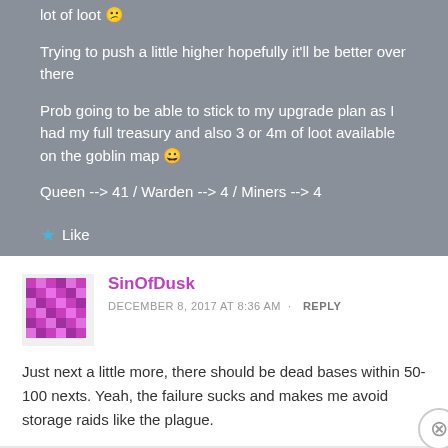lot of loot 😕
Trying to push a little higher hopefully it'll be better over there
Prob going to be able to stick to my upgrade plan as I had my full treasury and also 3 or 4m of loot available on the goblin map 😀
Queen --> 41 / Warden --> 4 / Miners --> 4
★ Like
SinOfDusk
DECEMBER 8, 2017 AT 8:36 AM · REPLY
Just next a little more, there should be dead bases within 50-100 nexts. Yeah, the failure sucks and makes me avoid storage raids like the plague.
Advertisements
[Figure (other): Seamless pizza delivery advertisement banner]